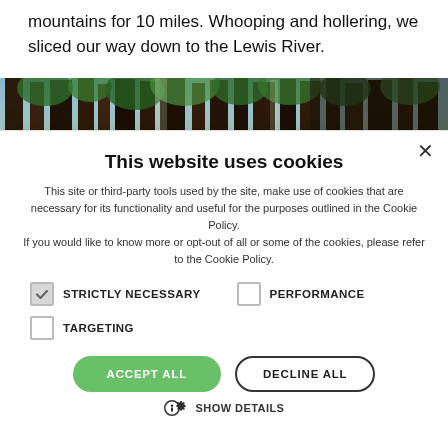mountains for 10 miles. Whooping and hollering, we sliced our way down to the Lewis River.
[Figure (photo): Wide panoramic photo of a dense forest with tall redwood/conifer trees, green foliage and dark trunks]
This website uses cookies
This site or third-party tools used by the site, make use of cookies that are necessary for its functionality and useful for the purposes outlined in the Cookie Policy.
If you would like to know more or opt-out of all or some of the cookies, please refer to the Cookie Policy.
STRICTLY NECESSARY (checked)
PERFORMANCE (unchecked)
TARGETING (unchecked)
ACCEPT ALL
DECLINE ALL
SHOW DETAILS